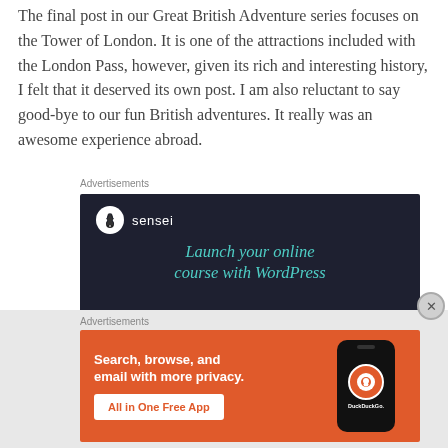The final post in our Great British Adventure series focuses on the Tower of London. It is one of the attractions included with the London Pass, however, given its rich and interesting history, I felt that it deserved its own post. I am also reluctant to say good-bye to our fun British adventures. It really was an awesome experience abroad.
Advertisements
[Figure (infographic): Sensei advertisement on dark navy background: circle logo with tree icon and 'sensei' text, tagline 'Launch your online course with WordPress' in teal italic font]
Advertisements
[Figure (infographic): DuckDuckGo advertisement on orange background: 'Search, browse, and email with more privacy.' with 'All in One Free App' button and phone image showing DuckDuckGo logo]